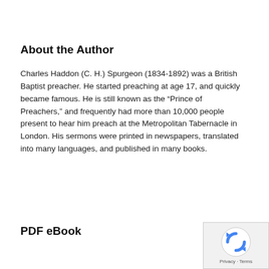About the Author
Charles Haddon (C. H.) Spurgeon (1834-1892) was a British Baptist preacher. He started preaching at age 17, and quickly became famous. He is still known as the “Prince of Preachers,” and frequently had more than 10,000 people present to hear him preach at the Metropolitan Tabernacle in London. His sermons were printed in newspapers, translated into many languages, and published in many books.
PDF eBook
[Figure (logo): reCAPTCHA badge with spinning arrows icon and Privacy · Terms text]